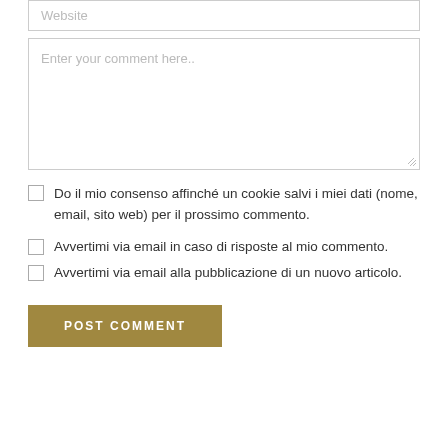Website
Enter your comment here..
Do il mio consenso affinché un cookie salvi i miei dati (nome, email, sito web) per il prossimo commento.
Avvertimi via email in caso di risposte al mio commento.
Avvertimi via email alla pubblicazione di un nuovo articolo.
POST COMMENT